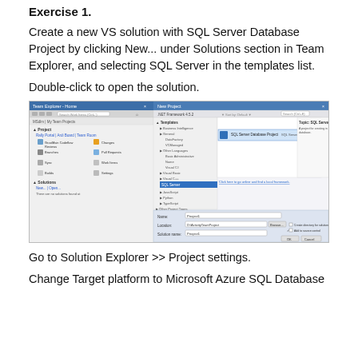Exercise 1.
Create a new VS solution with SQL Server Database Project by clicking New... under Solutions section in Team Explorer, and selecting SQL Server in the templates list.
Double-click to open the solution.
[Figure (screenshot): Screenshot showing Team Explorer and New Project dialog with SQL Server Database Project template selected]
Go to Solution Explorer >> Project settings.
Change Target platform to Microsoft Azure SQL Database